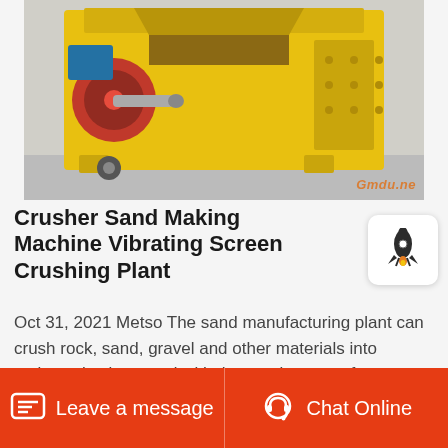[Figure (photo): Large yellow industrial crusher/sand making machine with red flywheel and blue motor, parked on concrete ground outdoors. Watermark reads 'Gmdu.ne' in bottom-right corner.]
Crusher Sand Making Machine Vibrating Screen Crushing Plant
Oct 31, 2021 Metso The sand manufacturing plant can crush rock, sand, gravel and other materials into various size in accord with the requirement of construction sand. Sand made by sand production line has uniform size and high compression
Leave a message   Chat Online